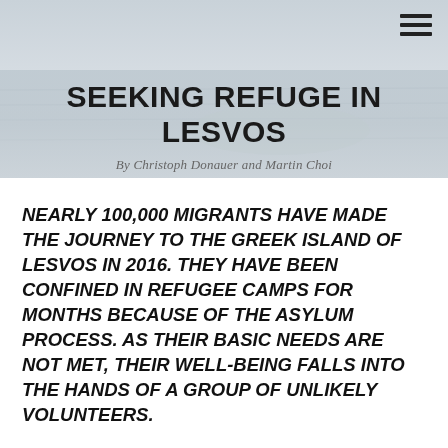[Figure (photo): Aerial or wide-angle photo of a sea/water scene with muted grey-blue tones, used as header background image]
SEEKING REFUGE IN LESVOS
By Christoph Donauer and Martin Choi
NEARLY 100,000 MIGRANTS HAVE MADE THE JOURNEY TO THE GREEK ISLAND OF LESVOS IN 2016. THEY HAVE BEEN CONFINED IN REFUGEE CAMPS FOR MONTHS BECAUSE OF THE ASYLUM PROCESS. AS THEIR BASIC NEEDS ARE NOT MET, THEIR WELL-BEING FALLS INTO THE HANDS OF A GROUP OF UNLIKELY VOLUNTEERS.